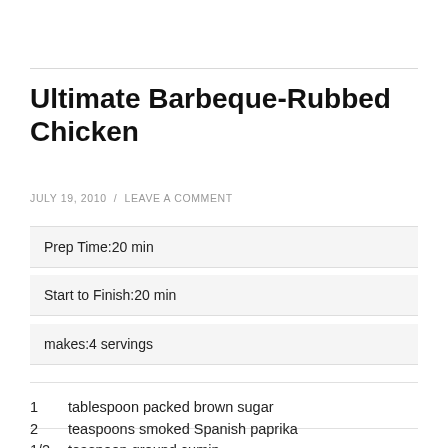Ultimate Barbeque-Rubbed Chicken
JULY 19, 2010 / LEAVE A COMMENT
Prep Time:20 min
Start to Finish:20 min
makes:4 servings
1	tablespoon packed brown sugar
2	teaspoons smoked Spanish paprika
1/2	teaspoon ground cumin